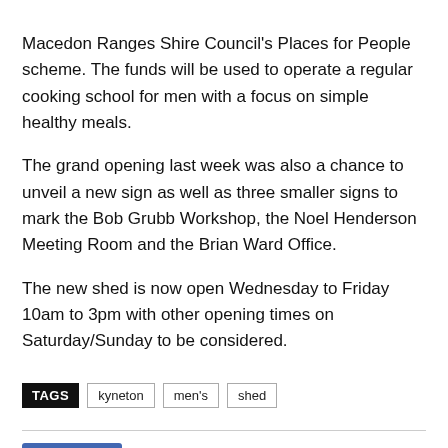Macedon Ranges Shire Council's Places for People scheme. The funds will be used to operate a regular cooking school for men with a focus on simple healthy meals. The grand opening last week was also a chance to unveil a new sign as well as three smaller signs to mark the Bob Grubb Workshop, the Noel Henderson Meeting Room and the Brian Ward Office. The new shed is now open Wednesday to Friday 10am to 3pm with other opening times on Saturday/Sunday to be considered.
TAGS: kyneton, men's, shed
[Figure (other): Social media buttons: Facebook Like (0), Facebook share, Twitter share, Pinterest share, WhatsApp share]